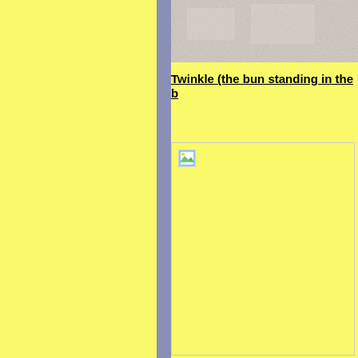[Figure (photo): Partial photo strip visible at top right — appears to show a light-colored textured surface (possibly fur or similar material)]
Twinkle (the bun standing in the b
[Figure (photo): Broken image placeholder with small image icon in top-left corner, on yellow background]